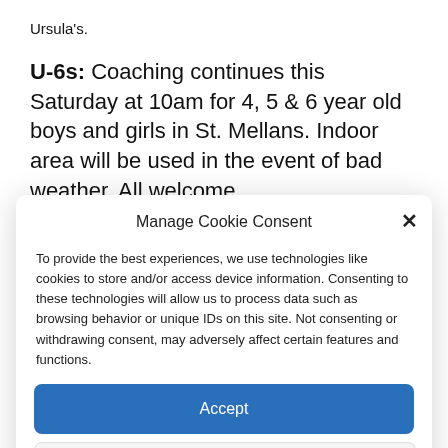Ursula's.
U-6s: Coaching continues this Saturday at 10am for 4, 5 & 6 year old boys and girls in St. Mellans. Indoor area will be used in the event of bad weather. All welcome.
Manage Cookie Consent
To provide the best experiences, we use technologies like cookies to store and/or access device information. Consenting to these technologies will allow us to process data such as browsing behavior or unique IDs on this site. Not consenting or withdrawing consent, may adversely affect certain features and functions.
Accept
Deny
View preferences